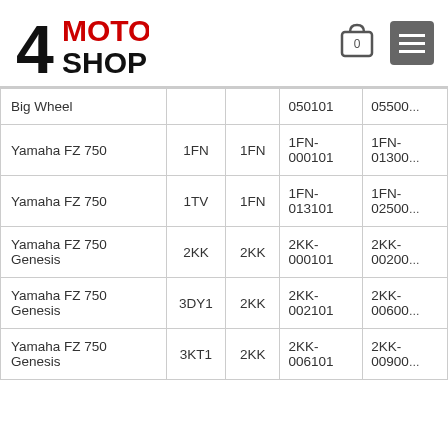4MOTOSHOP
| Model | Type | Type2 | From | To |
| --- | --- | --- | --- | --- |
| Big Wheel |  |  | 050101 | 05500... |
| Yamaha FZ 750 | 1FN | 1FN | 1FN-000101 | 1FN-01300... |
| Yamaha FZ 750 | 1TV | 1FN | 1FN-013101 | 1FN-02500... |
| Yamaha FZ 750 Genesis | 2KK | 2KK | 2KK-000101 | 2KK-00200... |
| Yamaha FZ 750 Genesis | 3DY1 | 2KK | 2KK-002101 | 2KK-00600... |
| Yamaha FZ 750 Genesis | 3KT1 | 2KK | 2KK-006101 | 2KK-00900... |